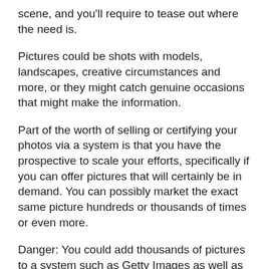scene, and you'll require to tease out where the need is.
Pictures could be shots with models, landscapes, creative circumstances and more, or they might catch genuine occasions that might make the information.
Part of the worth of selling or certifying your photos via a system is that you have the prospective to scale your efforts, specifically if you can offer pictures that will certainly be in demand. You can possibly market the exact same picture hundreds or thousands of times or even more.
Danger: You could add thousands of pictures to a system such as Getty Images as well as not have any of them really create…